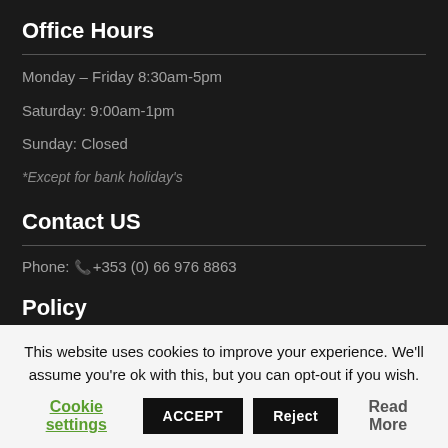Office Hours
Monday – Friday 8:30am-5pm
Saturday: 9:00am-1pm
Sunday: Closed
*Except for bank holiday's
Contact US
Phone: +353 (0) 66 976 8863
Policy
This website uses cookies to improve your experience. We'll assume you're ok with this, but you can opt-out if you wish.
Cookie settings  ACCEPT  Reject  Read More